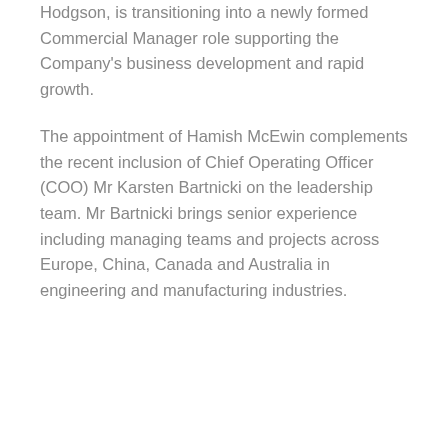Hodgson, is transitioning into a newly formed Commercial Manager role supporting the Company's business development and rapid growth.
The appointment of Hamish McEwin complements the recent inclusion of Chief Operating Officer (COO) Mr Karsten Bartnicki on the leadership team. Mr Bartnicki brings senior experience including managing teams and projects across Europe, China, Canada and Australia in engineering and manufacturing industries.